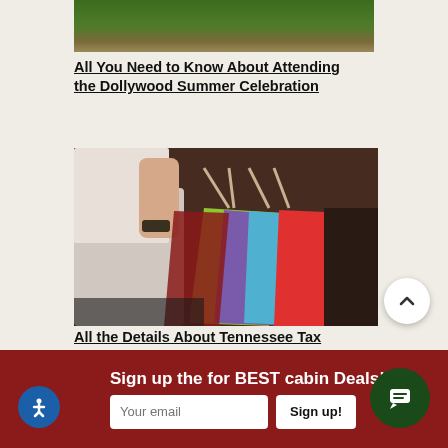[Figure (photo): Top portion of an outdoor scene with green grass and ground]
All You Need to Know About Attending the Dollywood Summer Celebration
[Figure (photo): Person holding multiple colorful shopping bags (green, purple, blue, red) in front of a brick wall]
All the Details About Tennessee Tax Free
Sign up the for BEST cabin Deals! >>
Your email
Sign up!